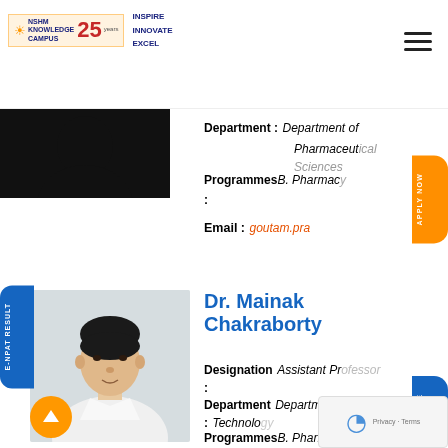NSHM Knowledge Campus - 25 Years - INSPIRE INNOVATE EXCEL
[Figure (photo): Black silhouette/photo of a person (cropped, top half visible)]
Department : Department of Pharmaceut[ical Sciences]
Programmes : B. Pharmacy
Email : goutam.pra[...]
[Figure (photo): Headshot photo of Dr. Mainak Chakraborty - young man in white shirt against light grey background]
Dr. Mainak Chakraborty
Designation : Assistant Pr[ofessor]
Department : Department [of Pharmaceutical] Technolo[gy]
Programmes : B. Pharm[acy]